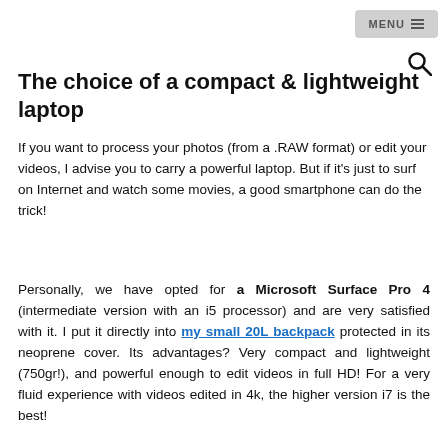MENU
The choice of a compact & lightweight laptop
If you want to process your photos (from a .RAW format) or edit your videos, I advise you to carry a powerful laptop. But if it's just to surf on Internet and watch some movies, a good smartphone can do the trick!
Personally, we have opted for a Microsoft Surface Pro 4 (intermediate version with an i5 processor) and are very satisfied with it. I put it directly into my small 20L backpack protected in its neoprene cover. Its advantages? Very compact and lightweight (750gr!), and powerful enough to edit videos in full HD! For a very fluid experience with videos edited in 4k, the higher version i7 is the best!